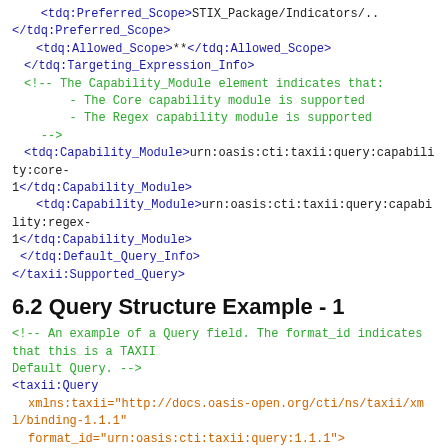<tdq:Preferred_Scope>STIX_Package/Indicators/...
</tdq:Preferred_Scope>
        <tdq:Allowed_Scope>**</tdq:Allowed_Scope>
    </tdq:Targeting_Expression_Info>
    <!-- The Capability_Module element indicates that:
        - The Core capability module is supported
        - The Regex capability module is supported
    -->
    <tdq:Capability_Module>urn:oasis:cti:taxii:query:capability:core-1</tdq:Capability_Module>
        <tdq:Capability_Module>urn:oasis:cti:taxii:query:capability:regex-1</tdq:Capability_Module>
    </tdq:Default_Query_Info>
</taxii:Supported_Query>
6.2 Query Structure Example - 1
<!-- An example of a Query field. The format_id indicates that this is a TAXII Default Query. -->
<taxii:Query
    xmlns:taxii="http://docs.oasis-open.org/cti/ns/taxii/xml/binding-1.1.1"
    format_id="urn:oasis:cti:taxii:query:1.1.1">
    <!-- This query tests for id attributes that begin with 'EXAMPLE' (case insensitive) -->
    <tdq:Default_Query
        xmlns:tdq="http://docs.oasis-open.org/cti/ns/taxii/default-query-1.1.1"
        targeting_expression_id="urn:oasis:cti:stix:xml:1.2.1">
        <tdq:Criteria operator="OR"><!-- Any child Criteria/Criterion evaluates to true -->